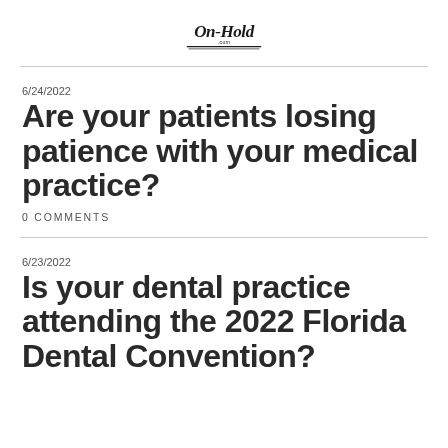On-Hold.com
6/24/2022
Are your patients losing patience with your medical practice?
0 COMMENTS
6/23/2022
Is your dental practice attending the 2022 Florida Dental Convention?